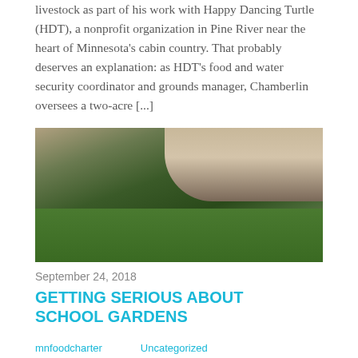livestock as part of his work with Happy Dancing Turtle (HDT), a nonprofit organization in Pine River near the heart of Minnesota's cabin country. That probably deserves an explanation: as HDT's food and water security coordinator and grounds manager, Chamberlin oversees a two-acre [...]
[Figure (photo): Children in a school garden holding up plants they have harvested, with a brick building in the background and green lawn.]
September 24, 2018
GETTING SERIOUS ABOUT SCHOOL GARDENS
mnfoodcharter    Uncategorized